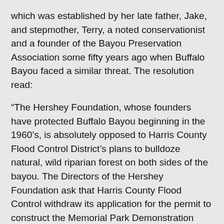which was established by her late father, Jake, and stepmother, Terry, a noted conservationist and a founder of the Bayou Preservation Association some fifty years ago when Buffalo Bayou faced a similar threat. The resolution read:
“The Hershey Foundation, whose founders have protected Buffalo Bayou beginning in the 1960’s, is absolutely opposed to Harris County Flood Control District’s plans to bulldoze natural, wild riparian forest on both sides of the bayou. The Directors of the Hershey Foundation ask that Harris County Flood Control withdraw its application for the permit to construct the Memorial Park Demonstration Project in Memorial Park. Less destructive alternative methods are available.”
Susan Knight, who lives on Crestwood overlooking the bayou, said that she and her neighbors were despairing over the project to bulldoze the bayou. She said twenty years ago they consulted with Dutch engineers, who recommended planting black willows on their banks to prevent erosion. She said that simple, inexpensive